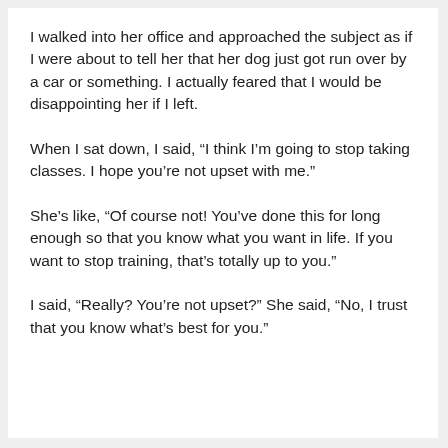I walked into her office and approached the subject as if I were about to tell her that her dog just got run over by a car or something. I actually feared that I would be disappointing her if I left.
When I sat down, I said, “I think I’m going to stop taking classes. I hope you’re not upset with me.”
She’s like, “Of course not! You’ve done this for long enough so that you know what you want in life. If you want to stop training, that’s totally up to you.”
I said, “Really? You’re not upset?” She said, “No, I trust that you know what’s best for you.”